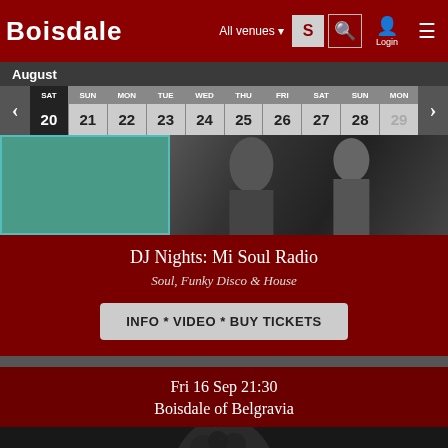BOISDALE | All venues | Login
August
| SAT | SUN | MON | TUE | WED | THU | FRI | SAT | SUN | MON |
| --- | --- | --- | --- | --- | --- | --- | --- | --- | --- |
| 20 | 21 | 22 | 23 | 24 | 25 | 26 | 27 | 28 | 29 |
[Figure (photo): DJ performance / performer image, black and white, with teal green panel on left]
DJ Nights: Mi Soul Radio
Soul, Funky Disco & House
INFO * VIDEO * BUY TICKETS
Fri 16 Sep 21:30
Boisdale of Belgravia
[Figure (photo): Dark portrait photo with BELGRAVIA text label on right]